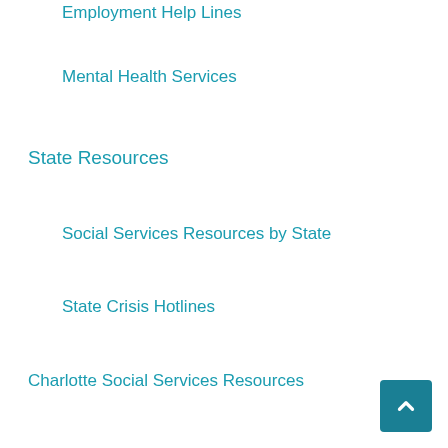Employment Help Lines
Mental Health Services
State Resources
Social Services Resources by State
State Crisis Hotlines
Charlotte Social Services Resources
Personal Finance Calculators
Auto Lease vs. Buy Calculator
Auto Loan Rate Calculator
Car Cost Comparison Calculator
Car Operating Cost Calculator
College Funding Calculator
Generic Brand/Store brand Savings Calculator